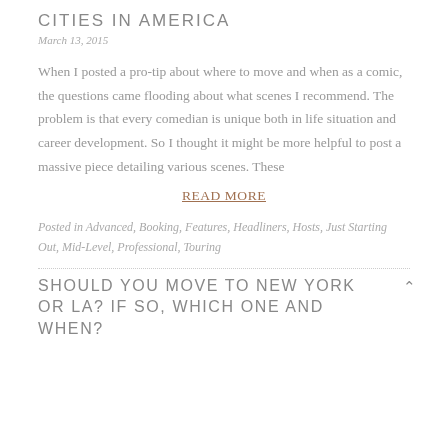CITIES IN AMERICA
March 13, 2015
When I posted a pro-tip about where to move and when as a comic, the questions came flooding about what scenes I recommend. The problem is that every comedian is unique both in life situation and career development. So I thought it might be more helpful to post a massive piece detailing various scenes. These
READ MORE
Posted in Advanced, Booking, Features, Headliners, Hosts, Just Starting Out, Mid-Level, Professional, Touring
SHOULD YOU MOVE TO NEW YORK OR LA? IF SO, WHICH ONE AND WHEN?